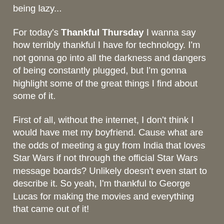being lazy...
For today's Thankful Thursday I wanna say how terribly thankful I have for technology. I'm not gonna go into all the darkness and dangers of being constantly plugged, but I'm gonna highlight some of the great things I find about some of it.
First of all, without the internet, I don't think I would have met my boyfriend. Cause what are the odds of meeting a guy from India that loves Star Wars if not through the official Star Wars message boards? Unlikely doesn't even start to describe it. So yeah, I'm thankful to George Lucas for making the movies and everything that came out of it!
Other technologies I love? Skype, it's just amazing that I can talk to my boyfriend from laptop to laptop on videocall or phone to phone on Skype call, and not having to worry about the humongous phone bill that would accompany it...
Twitter is another new thing I like, I know there are loads of bad things about the darker side of twitter or how inane it can